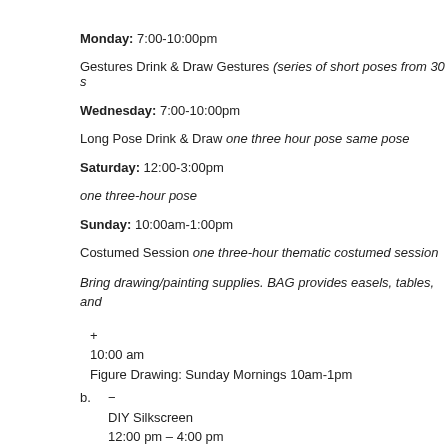Monday: 7:00-10:00pm
Gestures Drink & Draw Gestures (series of short poses from 30 s
Wednesday: 7:00-10:00pm
Long Pose Drink & Draw one three hour pose same pose
Saturday: 12:00-3:00pm
one three-hour pose
Sunday: 10:00am-1:00pm
Costumed Session one three-hour thematic costumed session
Bring drawing/painting supplies. BAG provides easels, tables, and
+
10:00 am
Figure Drawing: Sunday Mornings 10am-1pm
b. −
DIY Silkscreen
12:00 pm – 4:00 pm
Read more
Categories:
Learning